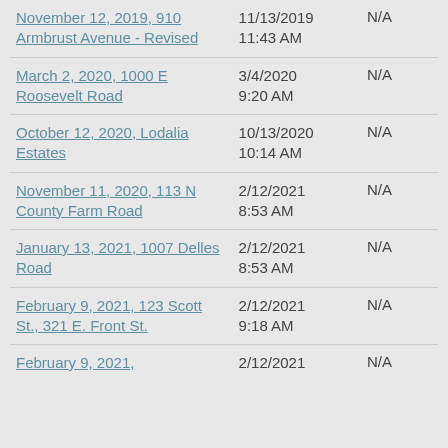| Document | Date Filed | Status |
| --- | --- | --- |
| November 12, 2019, 910 Armbrust Avenue - Revised | 11/13/2019 11:43 AM | N/A |
| March 2, 2020, 1000 E Roosevelt Road | 3/4/2020 9:20 AM | N/A |
| October 12, 2020, Lodalia Estates | 10/13/2020 10:14 AM | N/A |
| November 11, 2020, 113 N County Farm Road | 2/12/2021 8:53 AM | N/A |
| January 13, 2021, 1007 Delles Road | 2/12/2021 8:53 AM | N/A |
| February 9, 2021, 123 Scott St., 321 E. Front St. | 2/12/2021 9:18 AM | N/A |
| February 9, 2021, | 2/12/2021 | N/A |